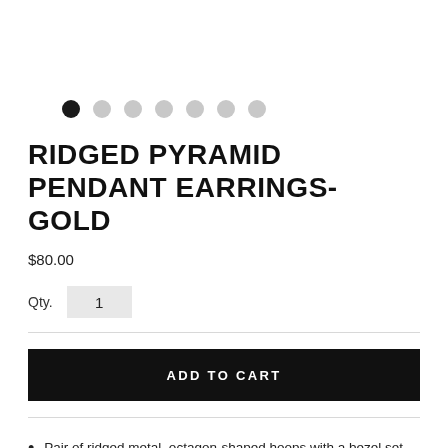[Figure (other): Image carousel navigation dots: one filled black dot followed by six light gray dots]
RIDGED PYRAMID PENDANT EARRINGS-GOLD
$80.00
Qty. 1
ADD TO CART
Pair of ridged metal, octagon-shaped hoops with a bezel set